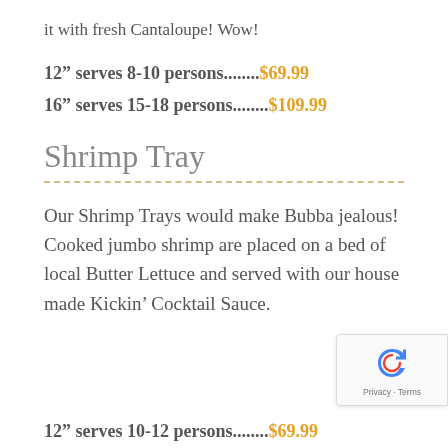it with fresh Cantaloupe!  Wow!
12" serves 8-10 persons........$69.99
16" serves 15-18 persons........$109.99
Shrimp Tray
Our Shrimp Trays would make Bubba jealous! Cooked jumbo shrimp are placed on a bed of local Butter Lettuce and served with our house made Kickin' Cocktail Sauce.
12" serves 10-12 persons........$69.99